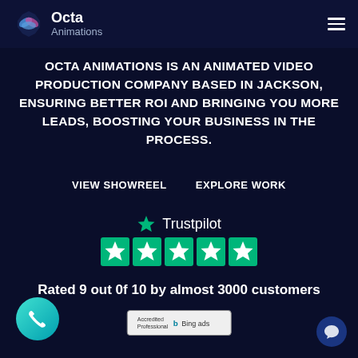[Figure (logo): Octa Animations logo with octagonal icon and text 'Octa Animations' in header]
OCTA ANIMATIONS IS AN ANIMATED VIDEO PRODUCTION COMPANY BASED IN JACKSON, ENSURING BETTER ROI AND BRINGING YOU MORE LEADS, BOOSTING YOUR BUSINESS IN THE PROCESS.
VIEW SHOWREEL   EXPLORE WORK
[Figure (logo): Trustpilot logo with star icon and 5 green star rating]
Rated 9 out 0f 10 by almost 3000 customers
[Figure (logo): Bing Ads Accredited Professional badge]